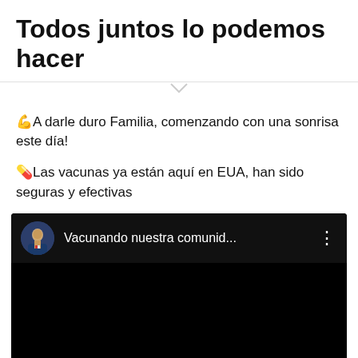Todos juntos lo podemos hacer
💪A darle duro Familia, comenzando con una sonrisa este día!
💊Las vacunas ya están aquí en EUA, han sido seguras y efectivas
[Figure (screenshot): Embedded video thumbnail with dark background showing 'Vacunando nuestra comunid...' title with a circular avatar of a man in a suit on the left and a three-dot menu icon on the right.]